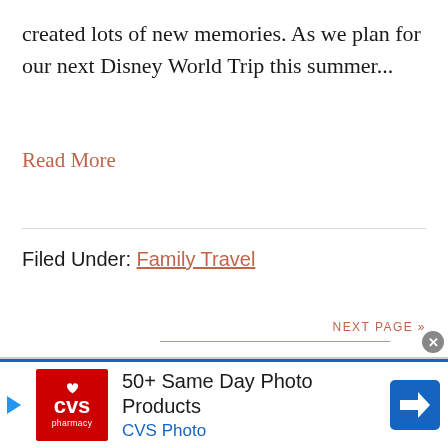created lots of new memories. As we plan for our next Disney World Trip this summer...
Read More
Filed Under: Family Travel
NEXT PAGE »
[Figure (other): CVS Pharmacy advertisement banner: '50+ Same Day Photo Products CVS Photo']